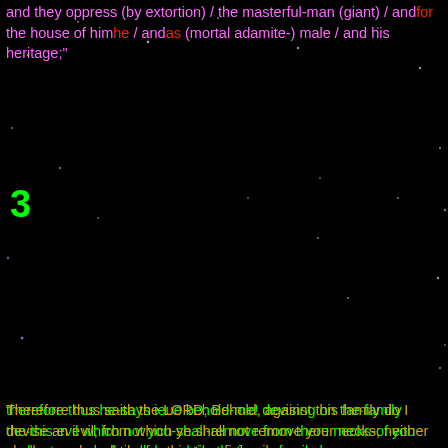and they oppress (by extortion) / the masterful-man (giant) / and for the house of him he / and as (mortal adamite-) male / and his heritage;"
3
therefore thus he-says ieue behold-me! devising on the-family the-this evil which not you-shall-remove from-there necks-of-you and-not you-shall-walk haughtily that era-of evil she
Therefore thus saith the LORD; Behold, against this family do I devise an evil, from which ye shall not remove your necks; neither shall ye go haughtily: for this time [is] evil
— 'family', H4940 mischpachah 303x; used at Noah's ark, "after their kinds (family)", therefore a type family, from H8198 shipchach, 'female maid (servant)".